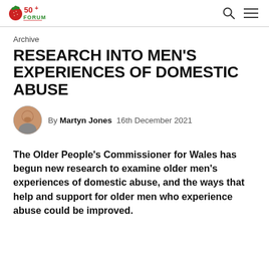50+ Forum [logo] [search icon] [menu icon]
Archive
RESEARCH INTO MEN'S EXPERIENCES OF DOMESTIC ABUSE
By Martyn Jones  16th December 2021
The Older People's Commissioner for Wales has begun new research to examine older men's experiences of domestic abuse, and the ways that help and support for older men who experience abuse could be improved.